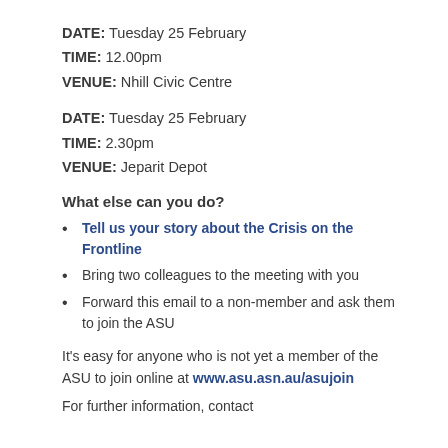DATE: Tuesday 25 February
TIME: 12.00pm
VENUE: Nhill Civic Centre
DATE: Tuesday 25 February
TIME: 2.30pm
VENUE: Jeparit Depot
What else can you do?
Tell us your story about the Crisis on the Frontline
Bring two colleagues to the meeting with you
Forward this email to a non-member and ask them to join the ASU
It's easy for anyone who is not yet a member of the ASU to join online at www.asu.asn.au/asujoin
For further information, contact...